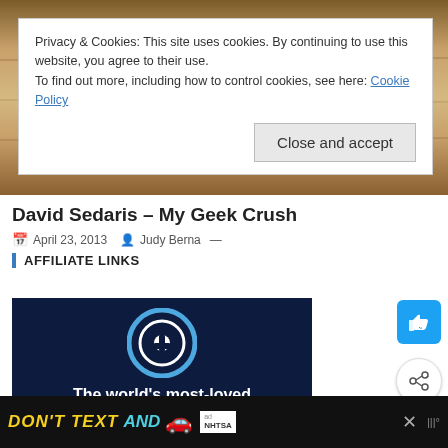[Figure (screenshot): Background cardboard/wood texture image behind cookie banner]
Privacy & Cookies: This site uses cookies. By continuing to use this website, you agree to their use.
To find out more, including how to control cookies, see here: Cookie Policy
Close and accept
David Sedaris – My Geek Crush
April 23, 2013   Judy Berna —
AFFILIATE LINKS
[Figure (photo): 1Password advertisement on dark navy background showing circular logo and text 'The world's most-loved']
[Figure (screenshot): Social media like button (blue) and share button (white circle) on the right side]
[Figure (infographic): Bottom black banner ad: DON'T TEXT AND [car emoji] with NHTSA logo and ad badge]